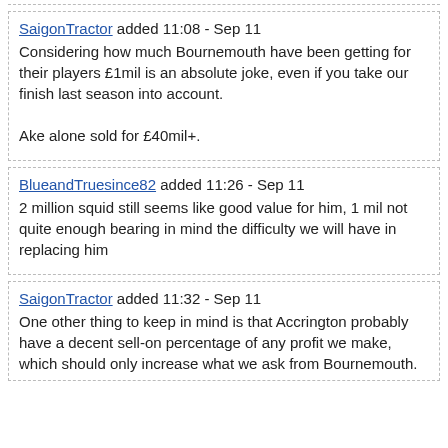SaigonTractor added 11:08 - Sep 11
Considering how much Bournemouth have been getting for their players £1mil is an absolute joke, even if you take our finish last season into account.

Ake alone sold for £40mil+.
BlueandTruesince82 added 11:26 - Sep 11
2 million squid still seems like good value for him, 1 mil not quite enough bearing in mind the difficulty we will have in replacing him
SaigonTractor added 11:32 - Sep 11
One other thing to keep in mind is that Accrington probably have a decent sell-on percentage of any profit we make, which should only increase what we ask from Bournemouth.